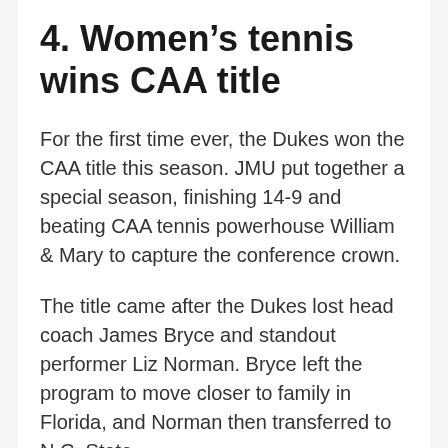4. Women's tennis wins CAA title
For the first time ever, the Dukes won the CAA title this season. JMU put together a special season, finishing 14-9 and beating CAA tennis powerhouse William & Mary to capture the conference crown.
The title came after the Dukes lost head coach James Bryce and standout performer Liz Norman. Bryce left the program to move closer to family in Florida, and Norman then transferred to N.C. State.